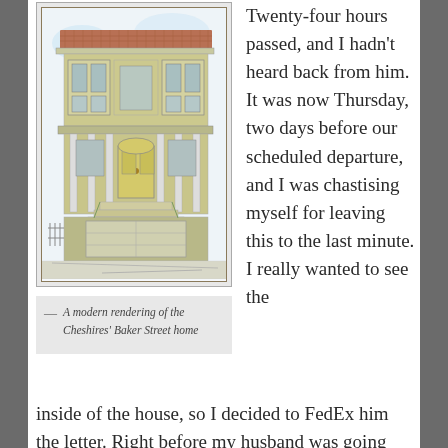[Figure (illustration): A modern rendering of a two-story Victorian-style house with bay windows, decorative facade, front steps, and a garage below. The house has a terracotta tile roof and green-yellow painted exterior.]
— A modern rendering of the Cheshires' Baker Street home
Twenty-four hours passed, and I hadn't heard back from him. It was now Thursday, two days before our scheduled departure, and I was chastising myself for leaving this to the last minute. I really wanted to see the inside of the house, so I decided to FedEx him the letter. Right before my husband was going out to send it for me, my phone rang. A San